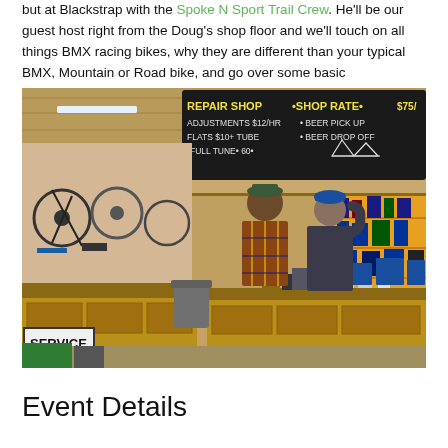but at Blackstrap with the Spoke N Sport Trail Crew. He'll be our guest host right from the Doug's shop floor and we'll touch on all things BMX racing bikes, why they are different than your typical BMX, Mountain or Road bike, and go over some basic maintenance tips!
[Figure (photo): Interior photo of Spoke N Sport bike repair shop showing bikes on wall mounts, service counter, chalkboard sign reading 'REPAIR SHOP - SHOP RATE $75/ - ADJUSTMENTS $12/hr - BEER PICK UP - FLATS $10+ TUBE - BEER DROP OFF - FULL TUNE $60' and two people standing at the counter. A 'SERVICE' sign is visible in the lower left.]
Event Details